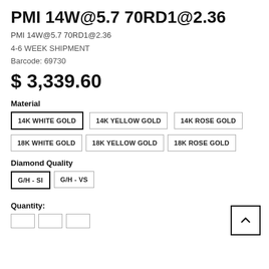PMI 14W@5.7 70RD1@2.36
PMI 14W@5.7 70RD1@2.36
4-6 WEEK SHIPMENT
Barcode: 69730
$ 3,339.60
Material
14K WHITE GOLD (selected)
14K YELLOW GOLD
14K ROSE GOLD
18K WHITE GOLD
18K YELLOW GOLD
18K ROSE GOLD
Diamond Quality
G/H - SI (selected)
G/H - VS
Quantity: